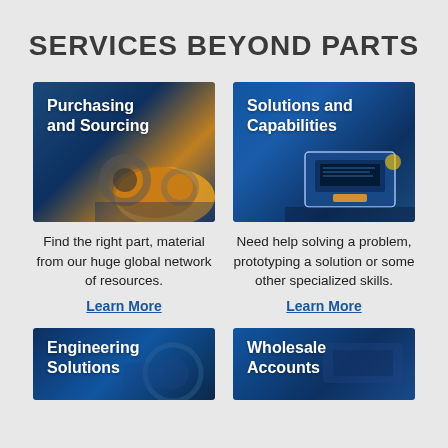SERVICES BEYOND PARTS
[Figure (photo): Purchasing and Sourcing — industrial mechanical parts/gears close-up with blue and gold tones]
[Figure (photo): Solutions and Capabilities — electronic device/measurement equipment on blue background]
Find the right part, material from our huge global network of resources.
Need help solving a problem, prototyping a solution or some other specialized skills.
Learn More
Learn More
[Figure (photo): Engineering Solutions — blue industrial background with engineering imagery]
[Figure (photo): Wholesale Accounts — blue background with wholesale/industrial imagery]